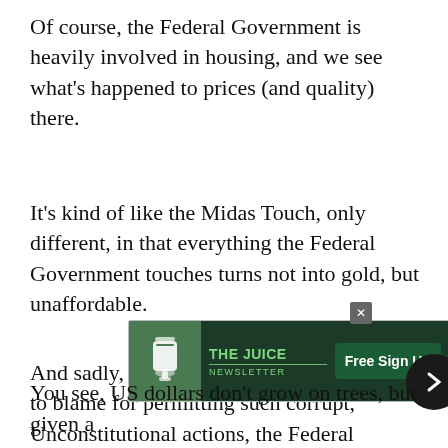Of course, the Federal Government is heavily involved in housing, and we see what's happened to prices (and quality) there.
It's kind of like the Midas Touch, only different, in that everything the Federal Government touches turns not into gold, but unaffordable.
And sadly, although we only have ourselves to blame for permitting such corrupt, Unconstitutional actions, the Federal Government is becoming more and more heavily involved in our nation's food industries, and if you happen to be one of those people who eats food, hopefully you won't have to beco[me...] mov[e...] to
[Figure (infographic): Advertisement banner for 'The Juice Newsletter' with a green cup icon on the left, text 'THE JUICE NEWSLETTER' in the center, and a 'Free Sign Up' button on the right. Dark green background.]
You see, US dollars don't grow on trees, but given a